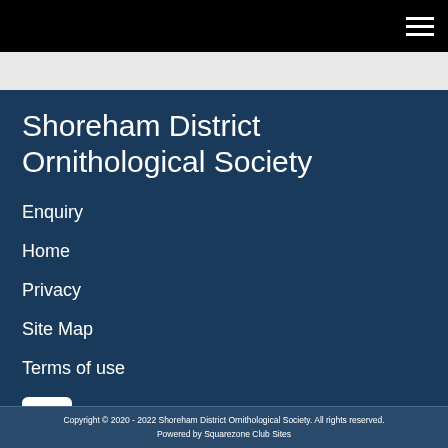Shoreham District Ornithological Society
Enquiry
Home
Privacy
Site Map
Terms of use
[Figure (logo): Facebook logo icon — white 'f' on white square with rounded corners]
Copyright © 2020 - 2022 Shoreham District Ornithological Society. All rights reserved. Powered by Squarezone Club Sites